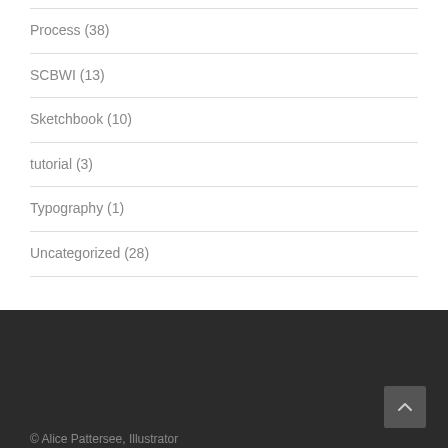Process (38)
SCBWI (13)
Sketchbook (10)
tutorial (3)
Typography (1)
Uncategorized (28)
© Alice Pattersee, Illustrator